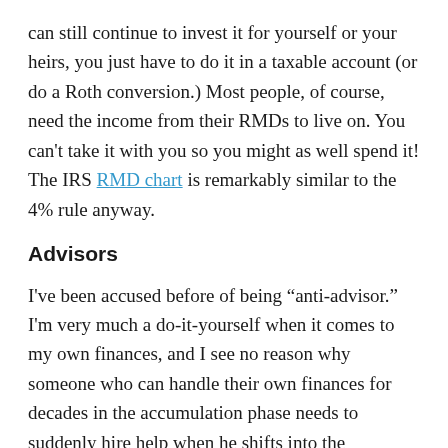can still continue to invest it for yourself or your heirs, you just have to do it in a taxable account (or do a Roth conversion.)  Most people, of course, need the income from their RMDs to live on.  You can't take it with you so you might as well spend it!  The IRS RMD chart is remarkably similar to the 4% rule anyway.
Advisors
I've been accused before of being "anti-advisor."  I'm very much a do-it-yourself when it comes to my own finances, and I see no reason why someone who can handle their own finances for decades in the accumulation phase needs to suddenly hire help when he shifts into the withdrawal phase.  But I'm not really anti-advisor.  I'm just against paying too much for bad advice.  I don't have a problem